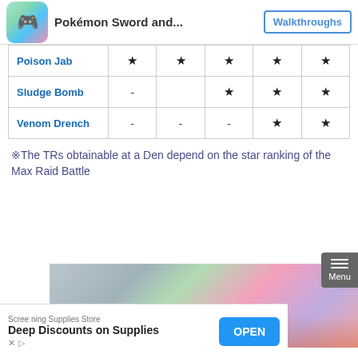Pokémon Sword and... | Walkthroughs
| Move | ★ | ★ | ★ | ★ | ★ |
| --- | --- | --- | --- | --- | --- |
| Poison Jab | ★ | ★ | ★ | ★ | ★ |
| Sludge Bomb | - |  | ★ | ★ | ★ |
| Venom Drench | - | - | - | ★ | ★ |
※The TRs obtainable at a Den depend on the star ranking of the Max Raid Battle
[Figure (photo): Hand holding a Nintendo Switch with teal/red Joy-Con controllers]
Screening Supplies Store
Deep Discounts on Supplies
OPEN